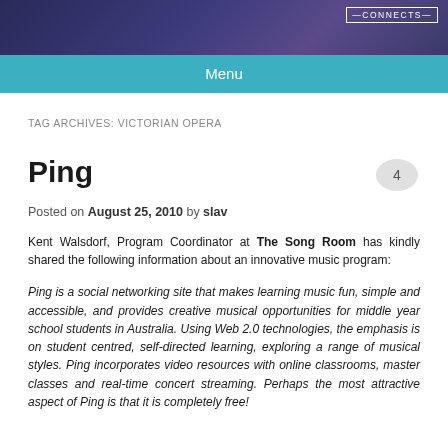[Figure (illustration): Website header banner with dark purple/blue background and decorative illustration. 'CONNECTS' label visible in top right corner.]
Menu
TAG ARCHIVES: VICTORIAN OPERA
Ping
Posted on August 25, 2010 by slav
Kent Walsdorf, Program Coordinator at The Song Room has kindly shared the following information about an innovative music program:
Ping is a social networking site that makes learning music fun, simple and accessible, and provides creative musical opportunities for middle year school students in Australia. Using Web 2.0 technologies, the emphasis is on student centred, self-directed learning, exploring a range of musical styles. Ping incorporates video resources with online classrooms, master classes and real-time concert streaming. Perhaps the most attractive aspect of Ping is that it is completely free!